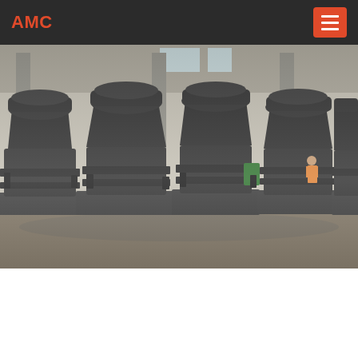AMC
[Figure (photo): Industrial grinding mills/cone crushers lined up in a factory warehouse. Multiple large dark grey mill machines visible in a row inside an industrial building with columns and skylights.]
MIT - Massachusetts Institute of Technology
email   onlineChat   message